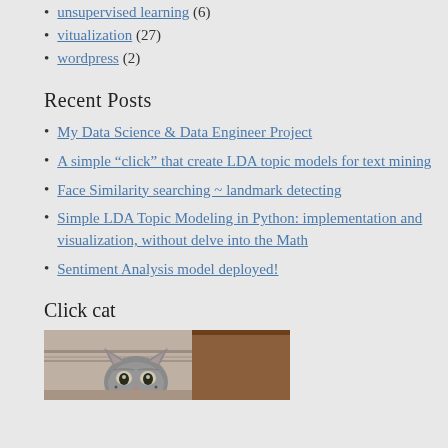unsupervised learning (6)
vitualization (27)
wordpress (2)
Recent Posts
My Data Science & Data Engineer Project
A simple “click” that create LDA topic models for text mining
Face Similarity searching ~ landmark detecting
Simple LDA Topic Modeling in Python: implementation and visualization, without delve into the Math
Sentiment Analysis model deployed!
Click cat
[Figure (photo): A grey cat peeking over what appears to be a ledge or surface, looking directly at the camera, with a brown box or structure in the background.]